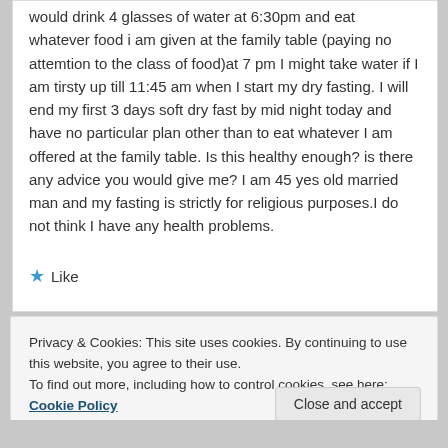would drink 4 glasses of water at 6:30pm and eat whatever food i am given at the family table (paying no attemtion to the class of food)at 7 pm I might take water if I am tirsty up till 11:45 am when I start my dry fasting. I will end my first 3 days soft dry fast by mid night today and have no particular plan other than to eat whatever I am offered at the family table. Is this healthy enough? is there any advice you would give me? I am 45 yes old married man and my fasting is strictly for religious purposes.I do not think I have any health problems.
★ Like
Privacy & Cookies: This site uses cookies. By continuing to use this website, you agree to their use.
To find out more, including how to control cookies, see here: Cookie Policy
Close and accept